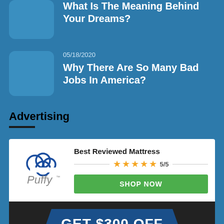What Is The Meaning Behind Your Dreams?
05/18/2020
Why There Are So Many Bad Jobs In America?
Advertising
[Figure (advertisement): Puffy mattress ad: Best Reviewed Mattress, 5/5 stars rating, SHOP NOW button]
[Figure (advertisement): GET $300 OFF promotional banner on dark background]